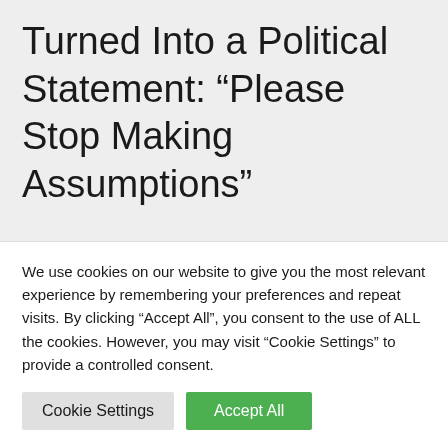Turned Into a Political Statement: “Please Stop Making Assumptions”
Batgirl: New Details Reveal
Michael Keaton’s True Role In
We use cookies on our website to give you the most relevant experience by remembering your preferences and repeat visits. By clicking “Accept All”, you consent to the use of ALL the cookies. However, you may visit “Cookie Settings” to provide a controlled consent.